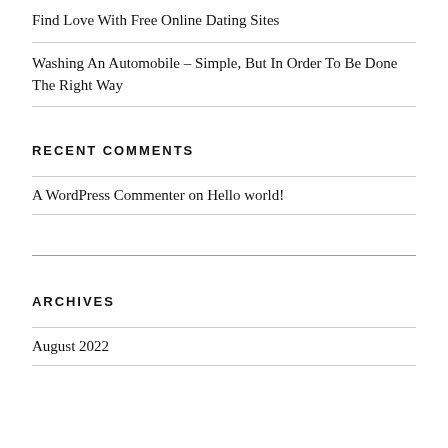Find Love With Free Online Dating Sites
Washing An Automobile – Simple, But In Order To Be Done The Right Way
RECENT COMMENTS
A WordPress Commenter on Hello world!
ARCHIVES
August 2022